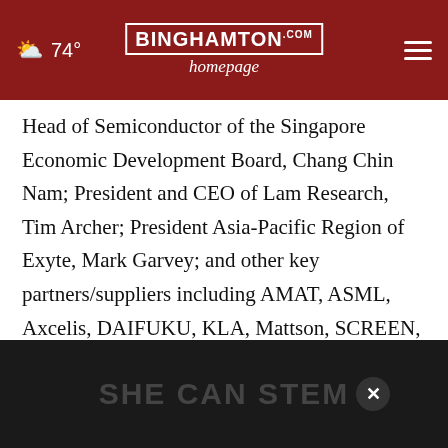74° Binghamton Homepage
Head of Semiconductor of the Singapore Economic Development Board, Chang Chin Nam; President and CEO of Lam Research, Tim Archer; President Asia-Pacific Region of Exyte, Mark Garvey; and other key partners/suppliers including AMAT, ASML, Axcelis, DAIFUKU, KLA, Mattson, SCREEN, Semes, TEL, Wonik, Air Liquid, and Linde. Representing GF was CEO Dr. Thomas Caulfield; GF Senior Vice President and Head of Global Operations, KC Ang; Vice President and General [obscured by ad]
[Figure (screenshot): Advertisement overlay with text SHE CAN STEM and a close button]